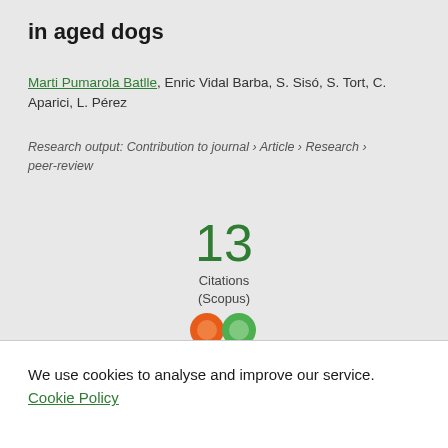in aged dogs
Marti Pumarola Batlle, Enric Vidal Barba, S. Sisó, S. Tort, C. Aparici, L. Pérez
Research output: Contribution to journal › Article › Research › peer-review
13
Citations
(Scopus)
[Figure (logo): Altmetric logo with orange and green circles and purple butterfly shape]
We use cookies to analyse and improve our service. Cookie Policy